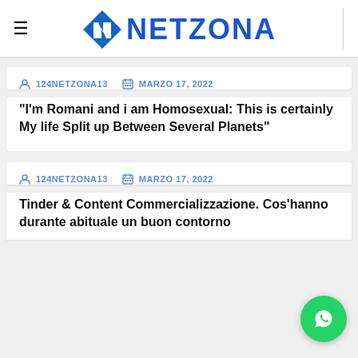[Figure (logo): Netzona website logo with blue N icon and NETZONA text in blue, with hamburger menu icon on left]
124NETZONA13   MARZO 17, 2022
“I’m Romani and i am Homosexual: This is certainly My life Split up Between Several Planets”
124NETZONA13   MARZO 17, 2022
Tinder & Content Commercializzazione. Cos’hanno durante abituale un buon contorno